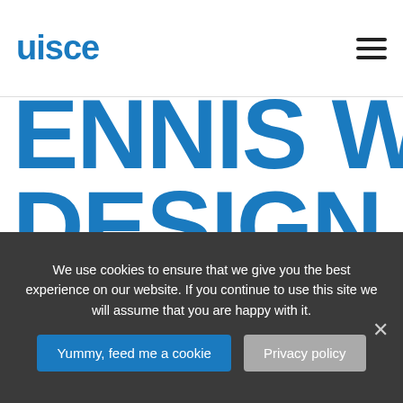uisce
ENNIS WEB DESIGN SPECIALIST
We use cookies to ensure that we give you the best experience on our website. If you continue to use this site we will assume that you are happy with it.
Yummy, feed me a cookie   Privacy policy